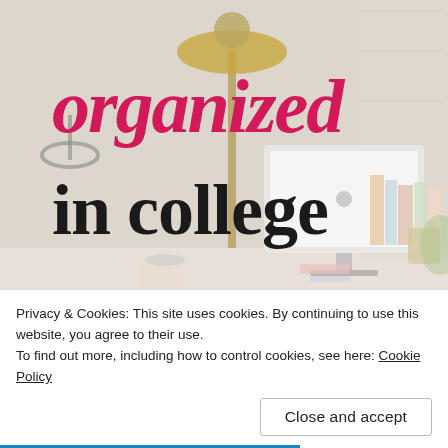[Figure (photo): Background photo of a college desk workspace with an iMac computer, brass desk lamp, books, and office supplies arranged neatly. The image is faded/washed out to allow text overlay.]
organized in college
Privacy & Cookies: This site uses cookies. By continuing to use this website, you agree to their use.
To find out more, including how to control cookies, see here: Cookie Policy
Close and accept